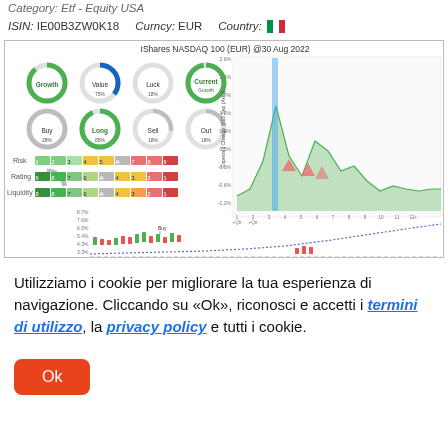Category: Etf - Equity USA
ISIN: IE00B3ZW0K18   Curncy: EUR   Country: 🇮🇹
[Figure (infographic): IShares NASDAQ 100 (EUR) @30 Aug 2022 dashboard showing donut charts for Growth, Value, Luck, Current (Growth) signals; Buy, Long, Sell, Out action rings; Risk, Rating, Liquidity bar indicators; area chart with cyclical phase overlay; candlestick chart with expected change forecast]
Utilizziamo i cookie per migliorare la tua esperienza di navigazione. Cliccando su «Ok», riconosci e accetti i termini di utilizzo, la privacy policy e tutti i cookie.
Ok